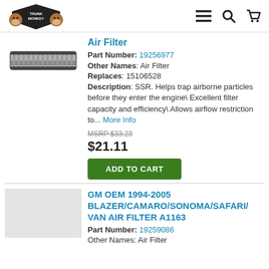Trunk Monkey - navigation header with menu, search, and cart icons
Air Filter
Part Number: 19256977
Other Names: Air Filter
Replaces: 15106528
Description: SSR. Helps trap airborne particles before they enter the engine\ Excellent filter capacity and efficiency\ Allows airflow restriction to... More Info
MSRP $33.23
$21.11
ADD TO CART
GM OEM 1994-2005 BLAZER/CAMARO/SONOMA/SAFARI/VAN AIR FILTER A1163
Part Number: 19259086
Other Names: Air Filter